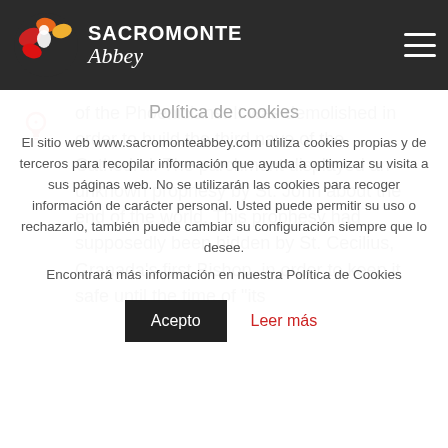[Figure (logo): Sacromonte Abbey logo with colorful flower/figure icon and text 'SACROMONTE Abbey' on dark background header bar]
of the Phoenicians. It was demolished in order to build the third nave of the Cathedral. The parchment displayed an unknown prophesy by St. John about the end of the world. This prophesy had supposedly been hidden by St. Cecilius, Granada's first Bishop, in order to keep it safe until the time of "its
Política de cookies
El sitio web www.sacromonteabbey.com utiliza cookies propias y de terceros para recopilar información que ayuda a optimizar su visita a sus páginas web. No se utilizarán las cookies para recoger información de carácter personal. Usted puede permitir su uso o rechazarlo, también puede cambiar su configuración siempre que lo desee.
Encontrará más información en nuestra Política de Cookies